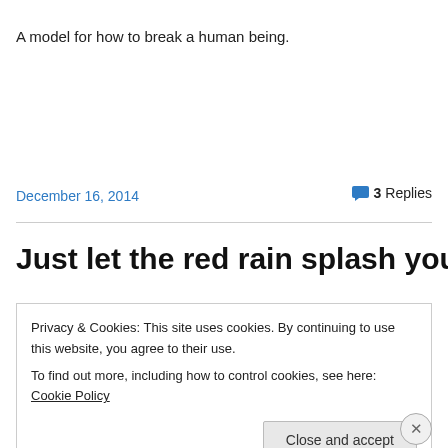A model for how to break a human being.
December 16, 2014
3 Replies
Just let the red rain splash you
Privacy & Cookies: This site uses cookies. By continuing to use this website, you agree to their use.
To find out more, including how to control cookies, see here: Cookie Policy
Close and accept